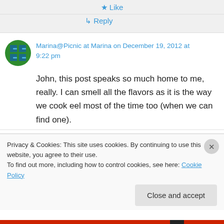★ Like
↵ Reply
Marina@Picnic at Marina on December 19, 2012 at 9:22 pm
John, this post speaks so much home to me, really. I can smell all the flavors as it is the way we cook eel most of the time too (when we can find one).
Privacy & Cookies: This site uses cookies. By continuing to use this website, you agree to their use.
To find out more, including how to control cookies, see here: Cookie Policy
Close and accept